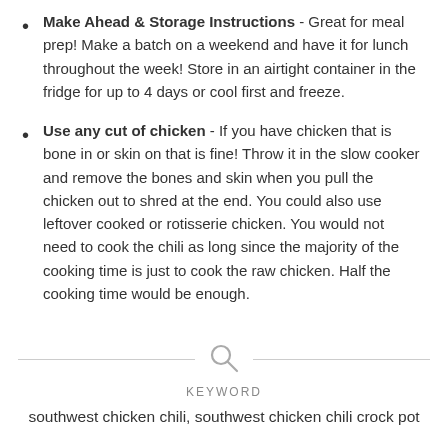Make Ahead & Storage Instructions - Great for meal prep! Make a batch on a weekend and have it for lunch throughout the week! Store in an airtight container in the fridge for up to 4 days or cool first and freeze.
Use any cut of chicken - If you have chicken that is bone in or skin on that is fine! Throw it in the slow cooker and remove the bones and skin when you pull the chicken out to shred at the end. You could also use leftover cooked or rotisserie chicken. You would not need to cook the chili as long since the majority of the cooking time is just to cook the raw chicken. Half the cooking time would be enough.
KEYWORD
southwest chicken chili, southwest chicken chili crock pot